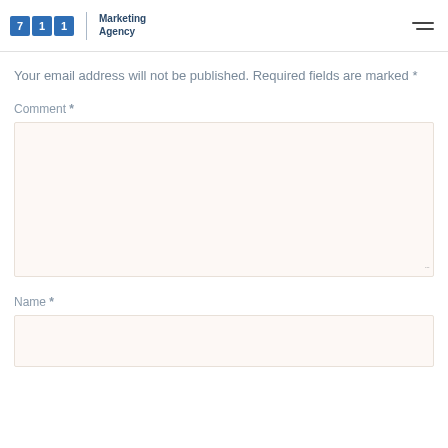711 Marketing Agency
Your email address will not be published. Required fields are marked *
Comment *
[Figure (other): Comment textarea input field with light beige background]
Name *
[Figure (other): Name text input field with light beige background]